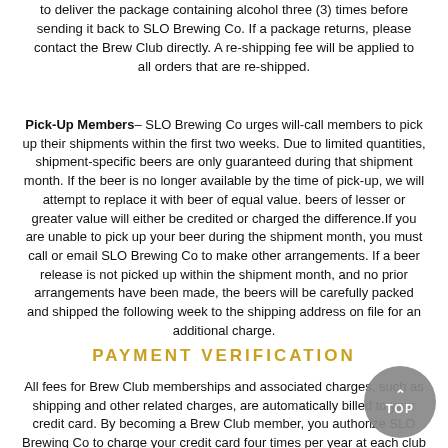to deliver the package containing alcohol three (3) times before sending it back to SLO Brewing Co.  If a package returns, please contact the Brew Club directly.  A re-shipping fee will be applied to all orders that are re-shipped.
Pick-Up Members– SLO Brewing Co urges will-call members to pick up their shipments within the first two weeks. Due to limited quantities, shipment-specific beers are only guaranteed during that shipment month. If the beer is no longer available by the time of pick-up, we will attempt to replace it with beer of equal value. beers of lesser or greater value will either be credited or charged the difference.If you are unable to pick up your beer during the shipment month, you must call or email SLO Brewing Co to make other arrangements. If a beer release is not picked up within the shipment month, and no prior arrangements have been made, the beers will be carefully packed and shipped the following week to the shipping address on file for an additional charge.
PAYMENT VERIFICATION
All fees for Brew Club memberships and associated charges, such as shipping and other related charges, are automatically billed to your credit card. By becoming a Brew Club member, you authorize SLO Brewing Co to charge your credit card four times per year at each club